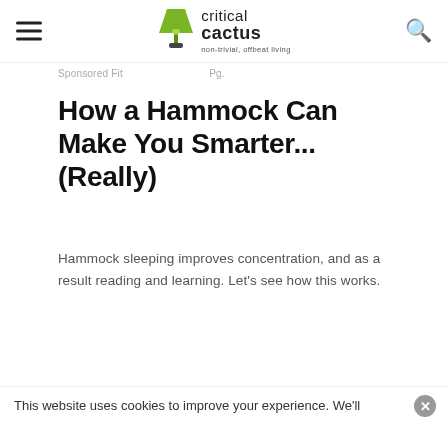critical cactus — non-trivial, offbeat living
Sponsored · … · [breadcrumb]
How a Hammock Can Make You Smarter... (Really)
Hammock sleeping improves concentration, and as a result reading and learning. Let's see how this works.
This website uses cookies to improve your experience. We'll